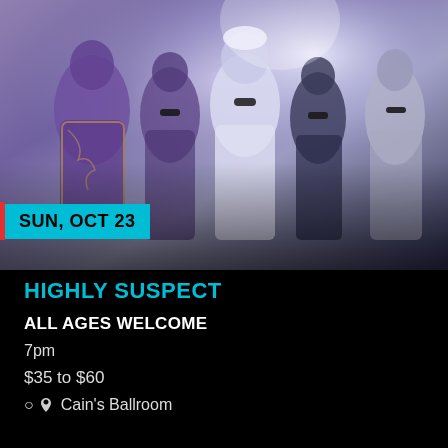[Figure (photo): Five band members posing together against a hazy purple/blue atmospheric background. The leftmost member wears a colorful patterned jacket. The center member wears white. Others wear dark clothing and sunglasses. A date badge 'SUN, OCT 23' overlays the bottom-left of the image.]
HIGHLY SUSPECT
ALL AGES WELCOME
7pm
$35 to $60
Cain's Ballroom